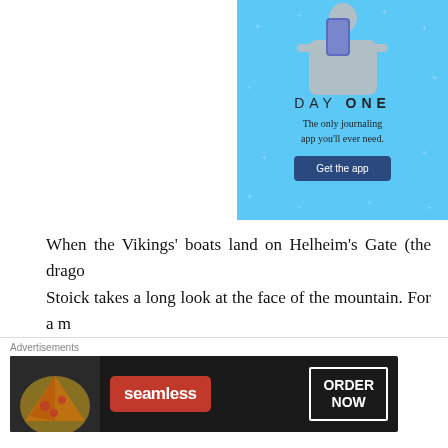[Figure (illustration): Day One journaling app advertisement on blue background with sparkle stars, person illustration, 'DAY ONE' text, tagline 'The only journaling app you’ll ever need.', and 'Get the app' dark button]
When the Vikings’ boats land on Helheim’s Gate (the drago… Stoick takes a long look at the face of the mountain. For a m… catch a glimpse of a red dragon tail before it scurries out o… enough to convince Stoick that he’s come to the right place, bu… notice it until recently. Very nice touch.
[Figure (illustration): Seamless food delivery advertisement banner with pizza image, red Seamless logo, and ORDER NOW button on dark background]